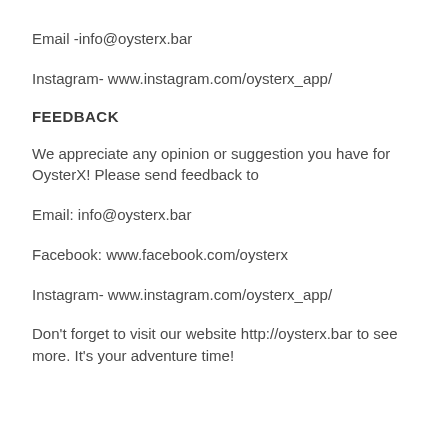Email -info@oysterx.bar
Instagram- www.instagram.com/oysterx_app/
FEEDBACK
We appreciate any opinion or suggestion you have for OysterX! Please send feedback to
Email: info@oysterx.bar
Facebook: www.facebook.com/oysterx
Instagram- www.instagram.com/oysterx_app/
Don't forget to visit our website http://oysterx.bar to see more. It's your adventure time!